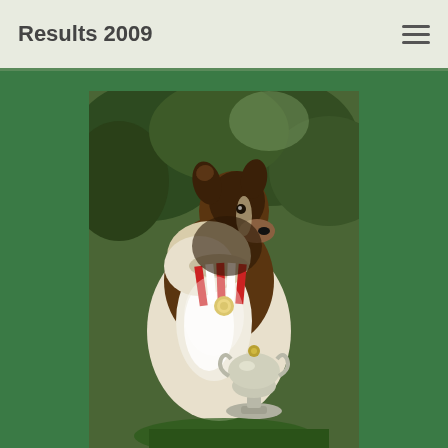Results 2009
[Figure (photo): A Shetland Sheepdog (Sheltie) or Rough Collie dog with a red and white medal ribbon around its neck and a silver trophy cup in front of it, posed outdoors with green foliage in the background.]